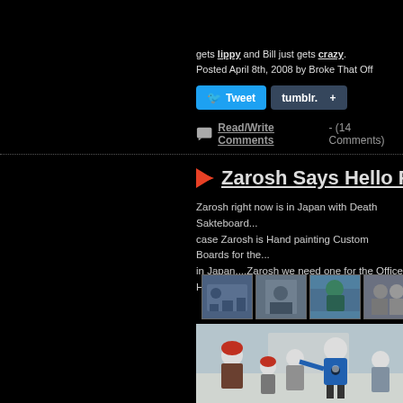gets lippy and Bill just gets crazy.
Posted April 8th, 2008 by Broke That Off
[Figure (screenshot): Tweet and Tumblr share buttons]
Read/Write Comments - (14 Comments)
Zarosh Says Hello Fro...
Zarosh right now is in Japan with Death Sakteboard... case Zarosh is Hand painting Custom Boards for the... in Japan....Zarosh we need one for the Office Holms...
[Figure (photo): Row of skateboarding thumbnail photos from Japan trip]
[Figure (photo): Main large photo showing skateboarders in Japan, man in blue shirt with skull graphic skating, children with helmets watching]